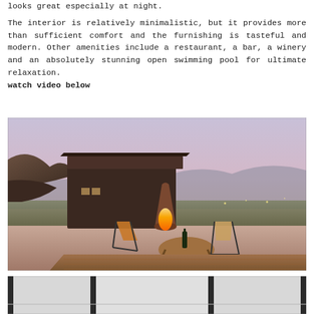looks great especially at night.

The interior is relatively minimalistic, but it provides more than sufficient comfort and the furnishing is tasteful and modern. Other amenities include a restaurant, a bar, a winery and an absolutely stunning open swimming pool for ultimate relaxation. watch video below
[Figure (photo): Outdoor deck of a hillside lodge at dusk with wooden chairs, a round table with wine bottle, a conical fire pit burning, and a panoramic valley view with mountains under a purple-pink sky.]
[Figure (photo): Partial view of a white minimalistic interior room with large windows and dark framing.]